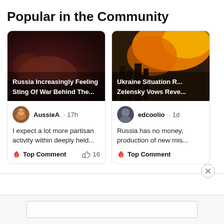Popular in the Community
[Figure (screenshot): News article thumbnail: dark reddish-brown smoke/fire image with headline overlay 'Russia Increasingly Feeling Sting Of War Behind The...']
Russia Increasingly Feeling Sting Of War Behind The...
AussieA · 17h
I expect a lot more partisan activity within deeply held...
🔥 Top Comment   👍 16
[Figure (screenshot): News article thumbnail: orange fire/explosion image with headline overlay 'Ukraine Situation R... Zelensky Vows Reve...']
Ukraine Situation R... Zelensky Vows Reve...
edcoolio · 1d
Russia has no money, production of new mis...
🔥 Top Comment